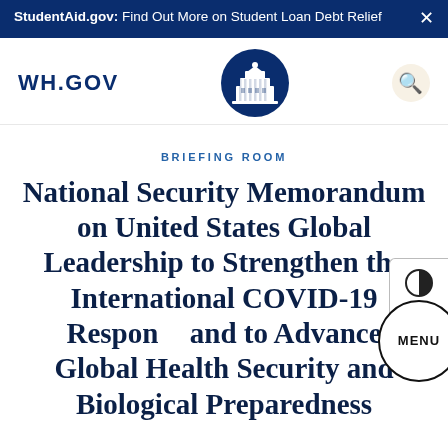StudentAid.gov: Find Out More on Student Loan Debt Relief
[Figure (logo): WH.GOV text logo and White House seal emblem in dark navy oval]
BRIEFING ROOM
National Security Memorandum on United States Global Leadership to Strengthen the International COVID-19 Response and to Advance Global Health Security and Biological Preparedness